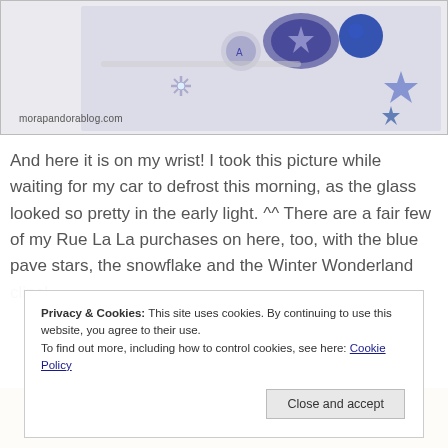[Figure (photo): Close-up photo of a Pandora charm bracelet with blue and silver charms including stars and snowflakes, with watermark 'morapandorablog.com']
And here it is on my wrist! I took this picture while waiting for my car to defrost this morning, as the glass looked so pretty in the early light. ^^ There are a fair few of my Rue La La purchases on here, too, with the blue pave stars, the snowflake and the Winter Wonderland clips!
Privacy & Cookies: This site uses cookies. By continuing to use this website, you agree to their use.
To find out more, including how to control cookies, see here: Cookie Policy
[Figure (photo): Partially visible photo at bottom of page, appears to be a blurred background]